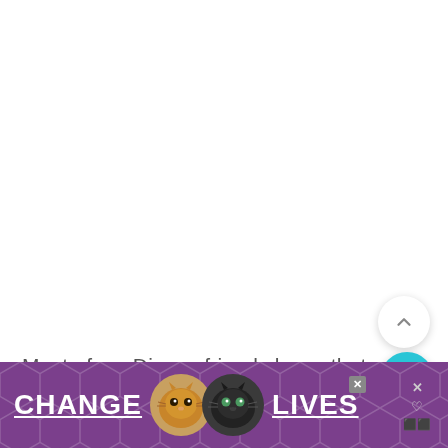Most of my Disney friends know that Belle is my favorite princess, but what many people might know is that Tiana is a very close second.  I love P... al...
[Figure (screenshot): Screenshot of a webpage with white background in the upper portion, two floating action buttons (scroll-up and search), article text about Disney princesses, and an advertisement banner at the bottom featuring 'CHANGE LIVES' text with cat photos on a purple background.]